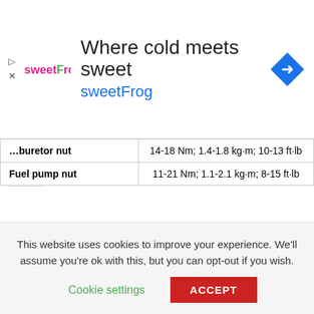[Figure (other): Advertisement banner for sweetFrog: 'Where cold meets sweet / sweetFrog' with logo and navigation arrow icon]
|  |  |
| --- | --- |
| Carburetor nut | 14-18 Nm; 1.4-1.8 kg·m; 10-13 ft·lb |
| Fuel pump nut | 11-21 Nm; 1.1-2.1 kg·m; 8-15 ft·lb |
VEHICLE APPLICATIONS
| Model | Years Produced |
| --- | --- |
| Nissan Patrol 4W66 | 1959-1960 |
| Nissan Carrier 4W73 | 1959 |
This website uses cookies to improve your experience. We'll assume you're ok with this, but you can opt-out if you wish.
Cookie settings   ACCEPT